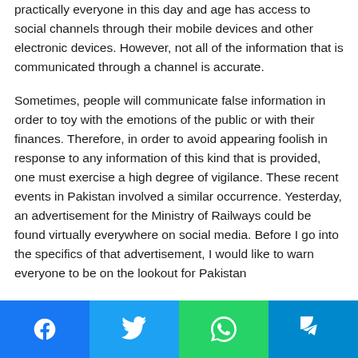practically everyone in this day and age has access to social channels through their mobile devices and other electronic devices. However, not all of the information that is communicated through a channel is accurate.
Sometimes, people will communicate false information in order to toy with the emotions of the public or with their finances. Therefore, in order to avoid appearing foolish in response to any information of this kind that is provided, one must exercise a high degree of vigilance. These recent events in Pakistan involved a similar occurrence. Yesterday, an advertisement for the Ministry of Railways could be found virtually everywhere on social media. Before I go into the specifics of that advertisement, I would like to warn everyone to be on the lookout for Pakistan
Facebook | Twitter | WhatsApp | Telegram